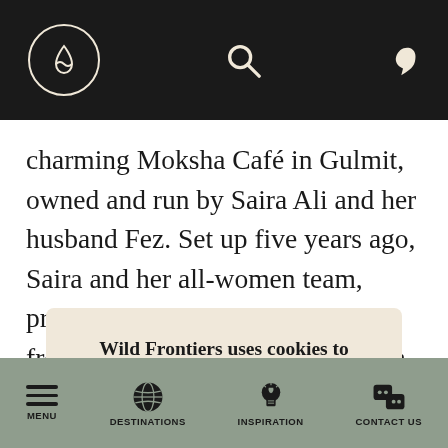Wild Frontiers navigation header with logo, search, and phone icons
charming Moksha Café in Gulmit, owned and run by Saira Ali and her husband Fez. Set up five years ago, Saira and her all-women team, prepare fabulous local dishes with fresh and organic ingredients from the local area – much of it
Wild Frontiers uses cookies to provide you with a better experience. By continuing to use our site you accept our cookie policy. Close
MENU | DESTINATIONS | INSPIRATION | CONTACT US